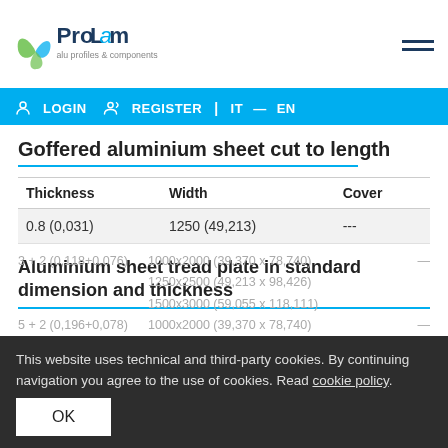[Figure (logo): ProLam alu profiles & components logo with green leaf icon and dark blue text]
LOGIN  REGISTER  |  IT — EN
Goffered aluminium sheet cut to length
| Thickness | Width | Cover |
| --- | --- | --- |
| 0.8 (0,031) | 1250 (49,213) | --- |
Aluminium sheet tread plate in standard dimension and thickness
This website uses technical and third-party cookies. By continuing navigation you agree to the use of cookies. Read cookie policy.
3 + 2 (0,118+0,076)   1000x2000 (39,370 x 78,740)   —
1250x2500 (49,213 x 98,426)
1500x3000 (59,055 x 118,111)
5 + 2 (0,196+0,078)   1000x2000 (39,370 x 78,740)   —